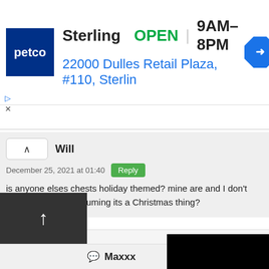[Figure (screenshot): Petco advertisement banner showing Sterling store location, OPEN status, hours 9AM-8PM, address 22000 Dulles Retail Plaza, #110, Sterlin, with Petco logo and navigation icon]
Will
December 25, 2021 at 01:40
is anyone elses chests holiday themed? mine are and I don't rlly like it but I'm assuming its a Christmas thing?
Zenox
December 26, 2021 at 19
Minecraft chests are alw christmas for a few days they pass.